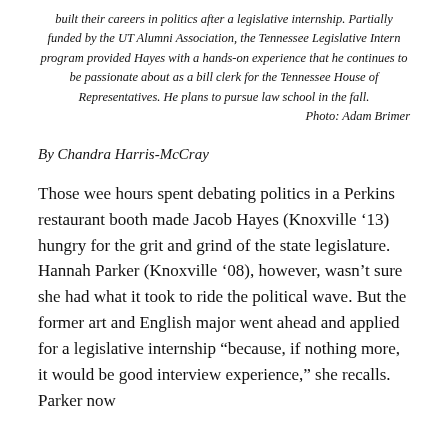built their careers in politics after a legislative internship. Partially funded by the UT Alumni Association, the Tennessee Legislative Intern program provided Hayes with a hands-on experience that he continues to be passionate about as a bill clerk for the Tennessee House of Representatives. He plans to pursue law school in the fall.
Photo: Adam Brimer
By Chandra Harris-McCray
Those wee hours spent debating politics in a Perkins restaurant booth made Jacob Hayes (Knoxville ‘13) hungry for the grit and grind of the state legislature. Hannah Parker (Knoxville ‘08), however, wasn’t sure she had what it took to ride the political wave. But the former art and English major went ahead and applied for a legislative internship “because, if nothing more, it would be good interview experience,” she recalls. Parker now